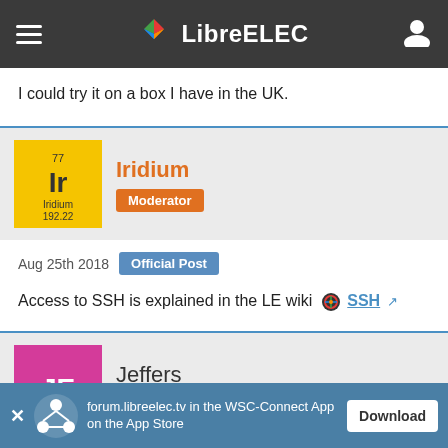LibreELEC
I could try it on a box I have in the UK.
[Figure (illustration): Iridium user avatar - periodic table element Iridium (Ir, 77, 192.22) in yellow/gold color]
Iridium
Moderator
Aug 25th 2018  Official Post
Access to SSH is explained in the LE wiki  SSH
[Figure (illustration): Jeffers user avatar - pink/magenta square with letters JE]
Jeffers
Student
forum.libreelec.tv in the WSC-Connect App on the App Store